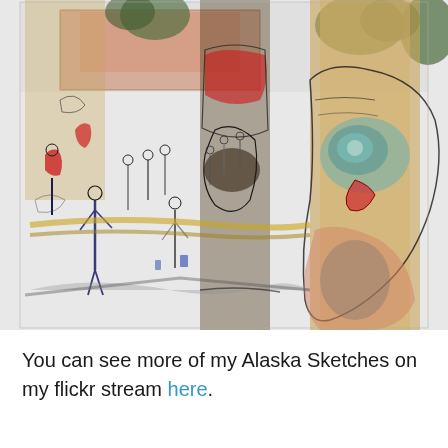[Figure (illustration): A watercolor and ink sketch depicting Alaska totem poles and figures in a public outdoor space. The scene shows large carved totem pole faces in the foreground with loosely sketched human figures, trees, and a building in the background. Colors include ochre, rust red, dark green, blue-gray, and coral tones on a white/light gray paper background.]
You can see more of my Alaska Sketches on my flickr stream here.